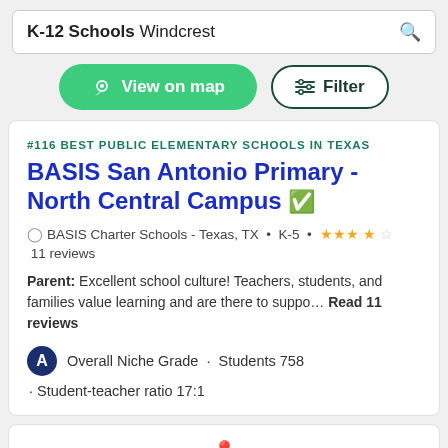K-12 Schools Windcrest
[Figure (screenshot): View on map button (green rounded) and Filter button (outlined)]
#116 BEST PUBLIC ELEMENTARY SCHOOLS IN TEXAS
BASIS San Antonio Primary - North Central Campus
BASIS Charter Schools - Texas, TX • K-5 • ★★★½ 11 reviews
Parent: Excellent school culture! Teachers, students, and families value learning and are there to suppo... Read 11 reviews
A Overall Niche Grade · Students 758
· Student-teacher ratio 17:1